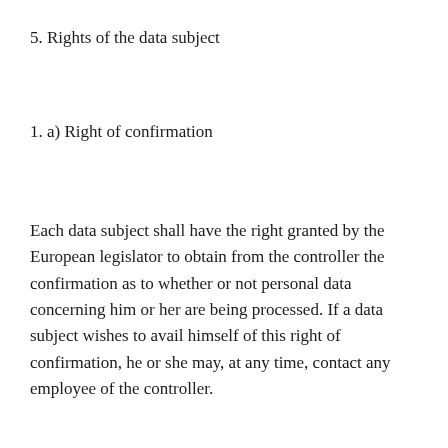5. Rights of the data subject
1. a) Right of confirmation
Each data subject shall have the right granted by the European legislator to obtain from the controller the confirmation as to whether or not personal data concerning him or her are being processed. If a data subject wishes to avail himself of this right of confirmation, he or she may, at any time, contact any employee of the controller.